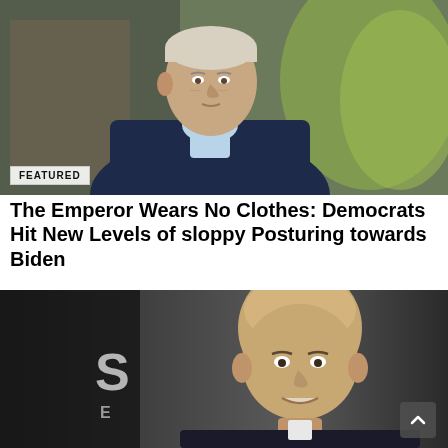[Figure (photo): Elderly man in dark suit and light blue shirt, photographed outdoors with blurred green foliage in background.]
FEATURED
The Emperor Wears No Clothes: Democrats Hit New Levels of sloppy Posturing towards Biden
[Figure (photo): Bald man in dark suit smiling, photographed against a dark background with a letter S visible to the left.]